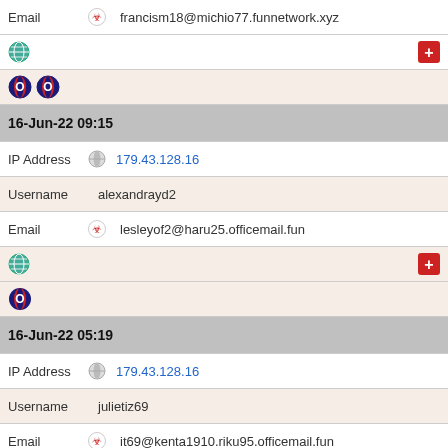Email francism18@michio77.funnetwork.xyz
[globe icon] [plus icon]
[Opera icon x2]
16-Jun-22 09:15
IP Address 179.43.128.16
Username alexandrayd2
Email lesleyof2@haru25.officemail.fun
[globe icon] [plus icon]
[Opera icon]
16-Jun-22 05:19
IP Address 179.43.128.16
Username julietiz69
Email it69@kenta1910.riku95.officemail.fun
[globe icon] [plus icon]
[Opera icon]
16-Jun-22 04:21
IP Address 179.43.128.16